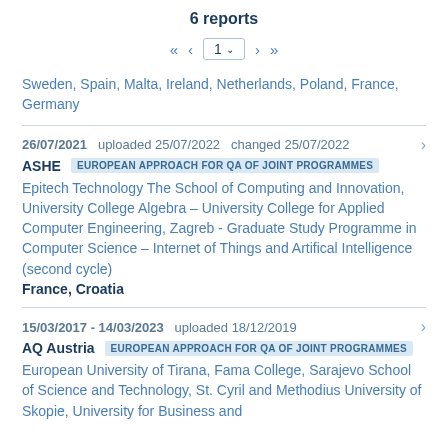6 reports
« ‹ 1 › »
Sweden, Spain, Malta, Ireland, Netherlands, Poland, France, Germany
26/07/2021  uploaded 25/07/2022  changed 25/07/2022
ASHE  EUROPEAN APPROACH FOR QA OF JOINT PROGRAMMES
Epitech Technology The School of Computing and Innovation, University College Algebra – University College for Applied Computer Engineering, Zagreb - Graduate Study Programme in Computer Science – Internet of Things and Artifical Intelligence (second cycle)
France, Croatia
15/03/2017 - 14/03/2023  uploaded 18/12/2019
AQ Austria  EUROPEAN APPROACH FOR QA OF JOINT PROGRAMMES
European University of Tirana, Fama College, Sarajevo School of Science and Technology, St. Cyril and Methodius University of Skopie, University for Business and